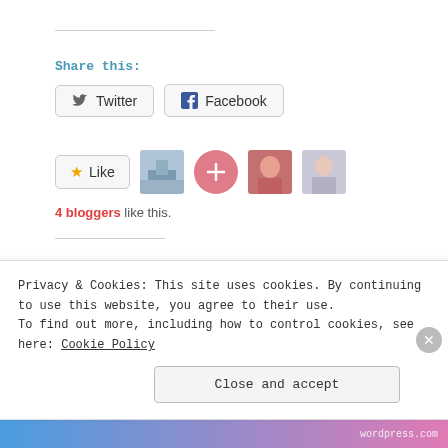Share this:
Twitter   Facebook
Like   4 bloggers like this.
Related
Thailand (Part 1)
April 18, 2016
South Africa
February 1, 2016
Privacy & Cookies: This site uses cookies. By continuing to use this website, you agree to their use.
To find out more, including how to control cookies, see here: Cookie Policy
Close and accept